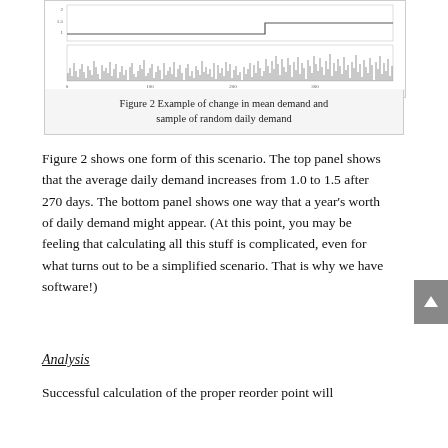[Figure (continuous-plot): Two-panel chart showing top panel: step change in mean daily demand from 1.0 to 1.5 after 270 days, and bottom panel: sample of random daily demand values over approximately 365 days.]
Figure 2 Example of change in mean demand and sample of random daily demand
Figure 2 shows one form of this scenario. The top panel shows that the average daily demand increases from 1.0 to 1.5 after 270 days. The bottom panel shows one way that a year's worth of daily demand might appear. (At this point, you may be feeling that calculating all this stuff is complicated, even for what turns out to be a simplified scenario. That is why we have software!)
Analysis
Successful calculation of the proper reorder point will